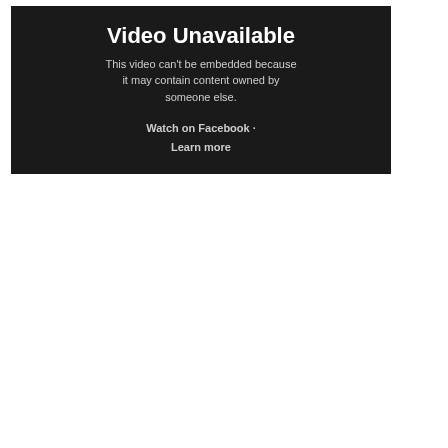[Figure (screenshot): Video unavailable embed placeholder with dark background showing 'Video Unavailable' title, subtitle text 'This video can't be embedded because it may contain content owned by someone else.', and links 'Watch on Facebook' and 'Learn more']
[Figure (photo): Promotional image for Melaka Tropical Fruit Farm showing the title text in orange/red serif font on a light background, with a photo below of a group of people wearing blue caps outdoors]